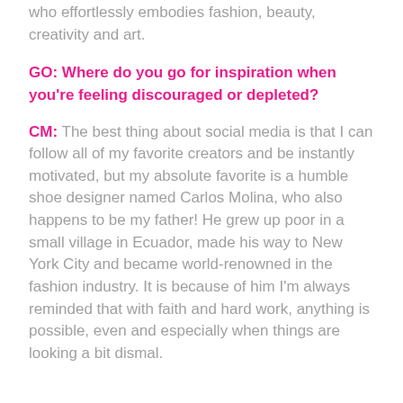who effortlessly embodies fashion, beauty, creativity and art.
GO: Where do you go for inspiration when you're feeling discouraged or depleted?
CM: The best thing about social media is that I can follow all of my favorite creators and be instantly motivated, but my absolute favorite is a humble shoe designer named Carlos Molina, who also happens to be my father! He grew up poor in a small village in Ecuador, made his way to New York City and became world-renowned in the fashion industry. It is because of him I'm always reminded that with faith and hard work, anything is possible, even and especially when things are looking a bit dismal.